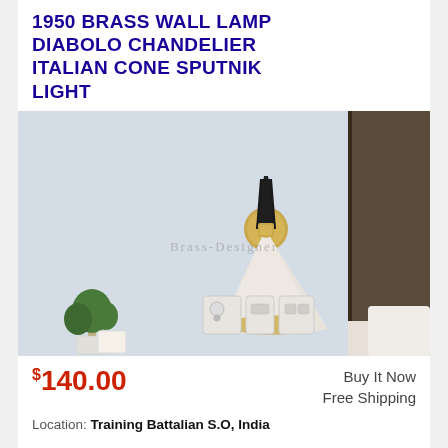1950 BRASS WALL LAMP DIABOLO CHANDELIER ITALIAN CONE SPUTNIK LIGHT
[Figure (photo): Product photo of a mid-century modern brass wall lamp (diabolo/sputnik style) mounted on a light grey wall in a bedroom setting. The lamp has a black upper cone, a gold/brass circular wall mount, and a white lower cone with gold interior. A dark wood headboard panel is visible on the right. Electrical outlets and a small potted plant are visible in the background. Watermark reads 'Brass-Designer'.]
$140.00
Buy It Now
Free Shipping
Location: Training Battalian S.O, India